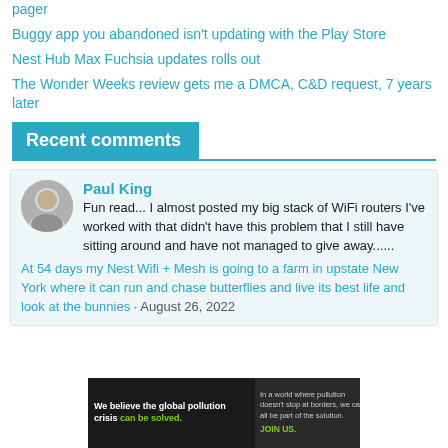pager
Buggy app you abandoned isn't updating with the Play Store
Nest Hub Max Fuchsia updates rolls out
The Wonder Weeks review gets me a DMCA, C&D request, 7 years later
Recent comments
Paul King
Fun read... I almost posted my big stack of WiFi routers I've worked with that didn't have this problem that I still have sitting around and have not managed to give away......
At 54 days my Nest Wifi + Mesh is going to a farm in upstate New York where it can run and chase butterflies and live its best life and look at the bunnies · August 26, 2022
[Figure (infographic): Advertisement banner for Pure Earth: 'We believe the global pollution crisis can be solved.' with JOIN US call to action and Pure Earth logo]